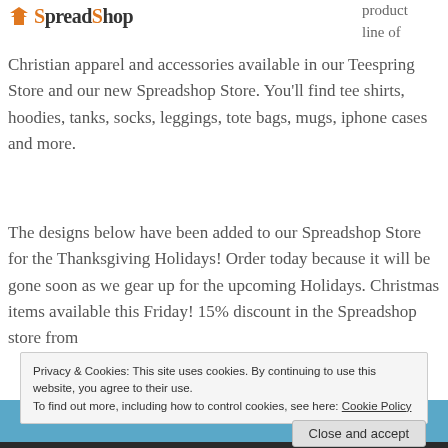[Figure (logo): Spreadshop logo with orange chevron/arrow icon and bold text 'Spreadshop']
product line of
Christian apparel and accessories available in our Teespring Store and our new Spreadshop Store. You'll find tee shirts, hoodies, tanks, socks, leggings, tote bags, mugs, iphone cases and more.
The designs below have been added to our Spreadshop Store for the Thanksgiving Holidays! Order today because it will be gone soon as we gear up for the upcoming Holidays. Christmas items available this Friday! 15% discount in the Spreadshop store from
Privacy & Cookies: This site uses cookies. By continuing to use this website, you agree to their use.
To find out more, including how to control cookies, see here: Cookie Policy
Close and accept